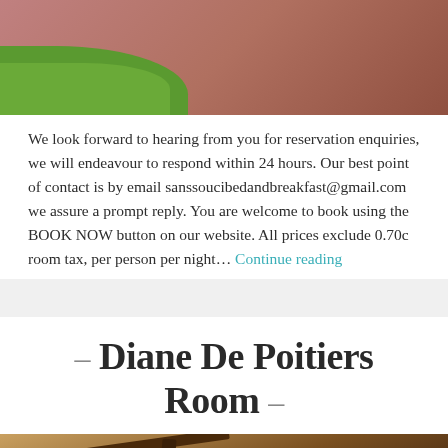[Figure (photo): Outdoor photo showing green grass area on the left and pink/red gravel path on the right, viewed from above]
We look forward to hearing from you for reservation enquiries, we will endeavour to respond within 24 hours. Our best point of contact is by email sanssoucibedandbreakfast@gmail.com we assure a prompt reply. You are welcome to book using the BOOK NOW button on our website. All prices exclude 0.70c room tax, per person per night…. Continue reading
– Diane De Poitiers Room –
[Figure (photo): Interior photo showing wooden ceiling beams of a room, warm brown tones]